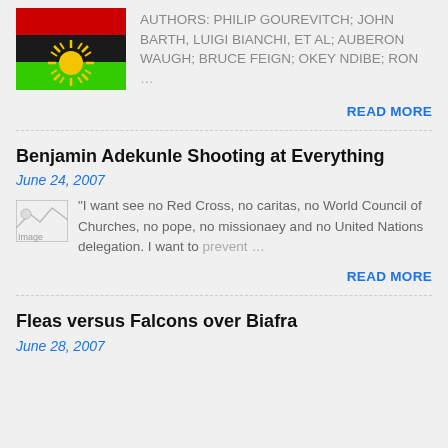[Figure (illustration): Biafran flag with red, black, and green horizontal stripes and a rising sun symbol in the lower portion]
AUTHORS: PHILIP GOUREVITCH; JOHN BARTH, LUIGI BIANCHI, ET AL; AUBERON WAUGH; BRUCE FEIGN; OKEY NDIBE; RON …
READ MORE
Benjamin Adekunle Shooting at Everything
June 24, 2007
[Figure (illustration): Broken/placeholder image icon labeled 'Image']
"I want see no Red Cross, no caritas, no World Council of Churches, no pope, no missionaey and no United Nations delegation. I want to prevent …
READ MORE
Fleas versus Falcons over Biafra
June 28, 2007